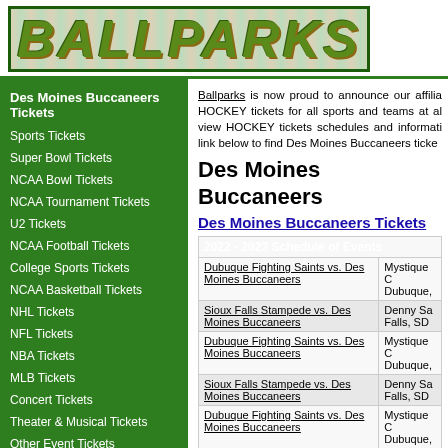BALLPARKS
Des Moines Buccaneers Tickets
Sports Tickets
Super Bowl Tickets
NCAA Bowl Tickets
NCAA Tournament Tickets
U2 Tickets
NCAA Football Tickets
College Sports Tickets
NCAA Basketball Tickets
NHL Tickets
NFL Tickets
NBA Tickets
MLB Tickets
Concert Tickets
Theater & Musical Tickets
Other Event Tickets
Alternate Concert Tickets
Ballparks is now proud to announce our affiliation... HOCKEY tickets for all sports and teams at all... view HOCKEY tickets schedules and informati... link below to find Des Moines Buccaneers ticke...
Des Moines Buccaneers
Des Moines Buccaneers Tickets
| 2022 - 2023 Schedule of Events |  |
| --- | --- |
| Dubuque Fighting Saints vs. Des Moines Buccaneers | Mystique ... Dubuque, |
| Sioux Falls Stampede vs. Des Moines Buccaneers | Denny Sa... Falls, SD |
| Dubuque Fighting Saints vs. Des Moines Buccaneers | Mystique ... Dubuque, |
| Sioux Falls Stampede vs. Des Moines Buccaneers | Denny Sa... Falls, SD |
| Dubuque Fighting Saints vs. Des Moines Buccaneers | Mystique ... Dubuque, |
| Sioux Falls Stampede vs. Des Moines Buccaneers | Denny Sa... Falls, SD |
Des Moines Buccaneers HOCKEY